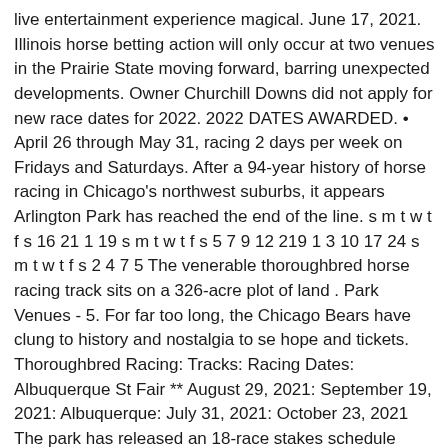live entertainment experience magical. June 17, 2021. Illinois horse betting action will only occur at two venues in the Prairie State moving forward, barring unexpected developments. Owner Churchill Downs did not apply for new race dates for 2022. 2022 DATES AWARDED. • April 26 through May 31, racing 2 days per week on Fridays and Saturdays. After a 94-year history of horse racing in Chicago's northwest suburbs, it appears Arlington Park has reached the end of the line. s m t w t f s 16 21 1 19 s m t w t f s 5 7 9 12 219 1 3 10 17 24 s m t w t f s 2 4 7 5 The venerable thoroughbred horse racing track sits on a 326-acre plot of land . Park Venues - 5. For far too long, the Chicago Bears have clung to history and nostalgia to se hope and tickets. Thoroughbred Racing: Tracks: Racing Dates: Albuquerque St Fair ** August 29, 2021: September 19, 2021: Albuquerque: July 31, 2021: October 23, 2021 The park has released an 18-race stakes schedule worth $2.75 million over the course of a 68-day race meet, with three Grade I races that carry the names of Arlington Chairman Emeritus Richard . The crown jewel is closing its